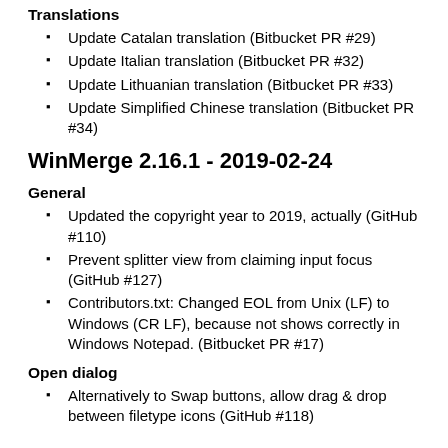Translations
Update Catalan translation (Bitbucket PR #29)
Update Italian translation (Bitbucket PR #32)
Update Lithuanian translation (Bitbucket PR #33)
Update Simplified Chinese translation (Bitbucket PR #34)
WinMerge 2.16.1 - 2019-02-24
General
Updated the copyright year to 2019, actually (GitHub #110)
Prevent splitter view from claiming input focus (GitHub #127)
Contributors.txt: Changed EOL from Unix (LF) to Windows (CR LF), because not shows correctly in Windows Notepad. (Bitbucket PR #17)
Open dialog
Alternatively to Swap buttons, allow drag & drop between filetype icons (GitHub #118)